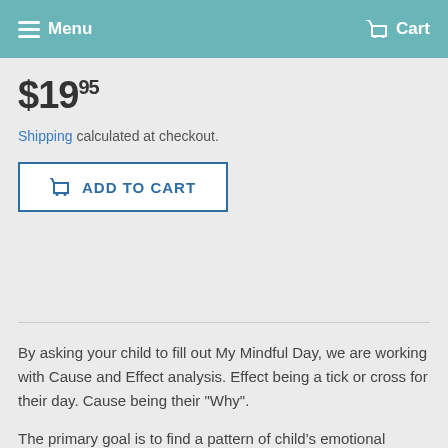Menu  Cart
$19.95
Shipping calculated at checkout.
[ ADD TO CART
By asking your child to fill out My Mindful Day, we are working with Cause and Effect analysis. Effect being a tick or cross for their day. Cause being their "Why".
The primary goal is to find a pattern of child's emotional wellbeing and to delve deep points what makes them happy